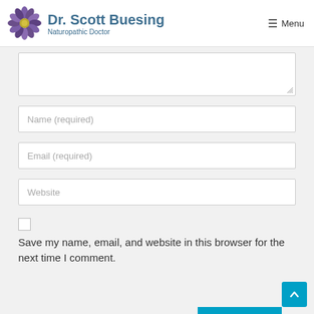Dr. Scott Buesing — Naturopathic Doctor — Menu
[Figure (screenshot): Website screenshot showing a comment/contact form with a textarea, Name (required), Email (required), Website fields, a checkbox, and Save my name label]
Name (required)
Email (required)
Website
Save my name, email, and website in this browser for the next time I comment.